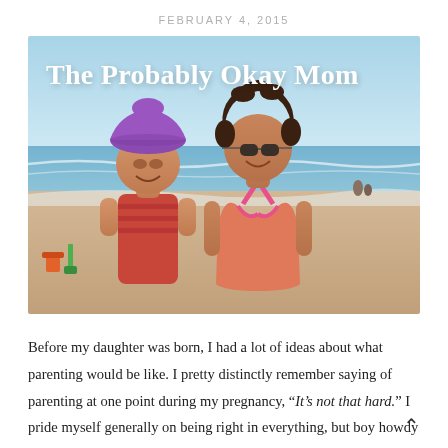FEBRUARY 4, 2015
The Probably Okay Mom
[Figure (photo): A woman wearing sunglasses and a pink bikini top smiles at the beach, holding a young girl wearing a purple sun hat and a striped swimsuit. Ocean waves and sandy beach visible in the background.]
Before my daughter was born, I had a lot of ideas about what parenting would be like. I pretty distinctly remember saying of parenting at one point during my pregnancy, “It’s not that hard.” I pride myself generally on being right in everything, but boy howdy